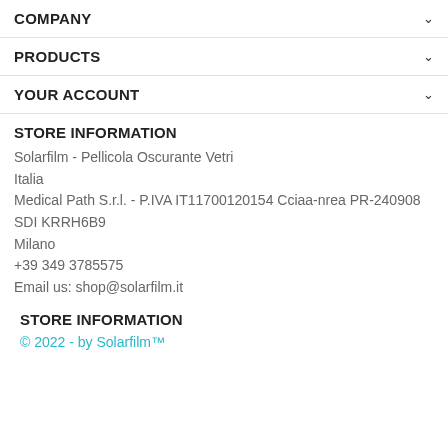COMPANY
PRODUCTS
YOUR ACCOUNT
STORE INFORMATION
Solarfilm - Pellicola Oscurante Vetri
Italia
Medical Path S.r.l. - P.IVA IT11700120154 Cciaa-nrea PR-240908 SDI KRRH6B9
Milano
+39 349 3785575
Email us: shop@solarfilm.it
STORE INFORMATION
© 2022 - by Solarfilm™